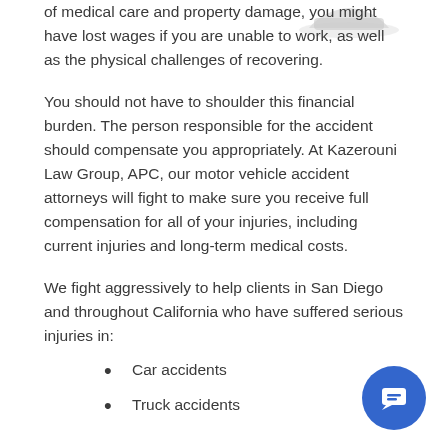of medical care and property damage, you might have lost wages if you are unable to work, as well as the physical challenges of recovering.
You should not have to shoulder this financial burden. The person responsible for the accident should compensate you appropriately. At Kazerouni Law Group, APC, our motor vehicle accident attorneys will fight to make sure you receive full compensation for all of your injuries, including current injuries and long-term medical costs.
We fight aggressively to help clients in San Diego and throughout California who have suffered serious injuries in:
Car accidents
Truck accidents